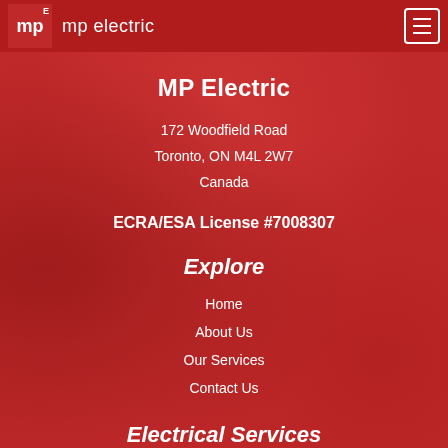mp electric
MP Electric
172 Woodfield Road
Toronto, ON M4L 2W7
Canada
ECRA/ESA License #7008307
Explore
Home
About Us
Our Services
Contact Us
Electrical Services
Fuse Panel Replacement
Breaker Panel Installation